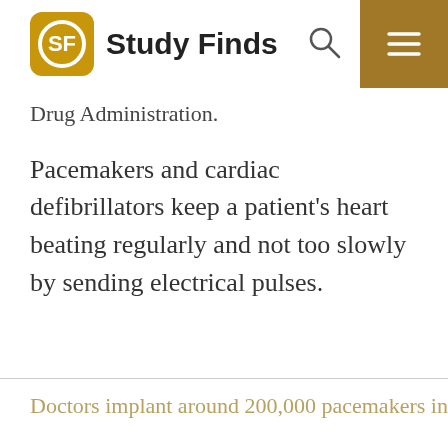Study Finds
Drug Administration.
Pacemakers and cardiac defibrillators keep a patient's heart beating regularly and not too slowly by sending electrical pulses.
Doctors implant around 200,000 pacemakers into